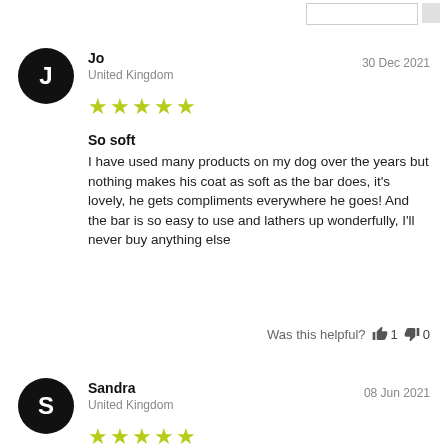Jo
United Kingdom
30 Dec 2021
[Figure (other): 5 yellow-green star rating]
So soft
I have used many products on my dog over the years but nothing makes his coat as soft as the bar does, it's lovely, he gets compliments everywhere he goes! And the bar is so easy to use and lathers up wonderfully, I'll never buy anything else
Was this helpful? 👍 1 👎 0
Sandra
United Kingdom
08 Jun 2021
[Figure (other): 5 yellow-green star rating]
My dogs smell so good!
Love it! My dogs smell so good. It lather up lovely and makes my dogs feel really clean. I love how it's natural